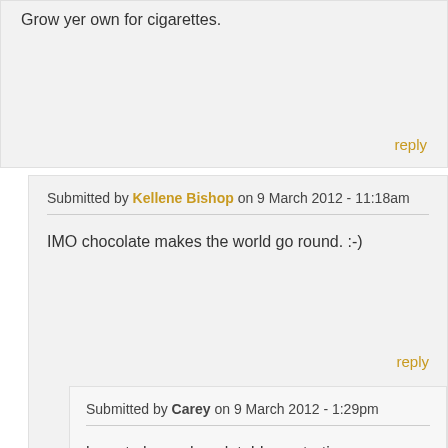Grow yer own for cigarettes.
reply
Submitted by Kellene Bishop on 9 March 2012 - 11:18am
IMO chocolate makes the world go round. :-)
reply
Submitted by Carey on 9 March 2012 - 1:29pm
have to have chocolate! I am starting my own chocolate closet. We have a good supply of wound care items but I am wondering how to get antibiotics? I have been home canning for a long time now but need to focus more on water and food.